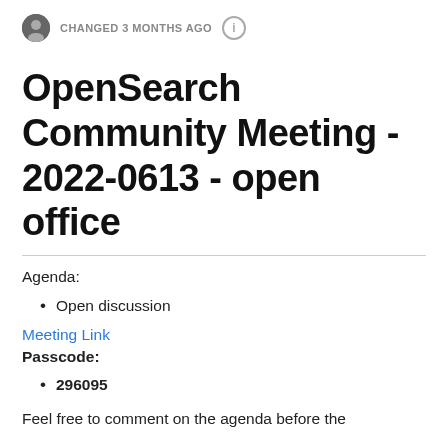CHANGED 3 MONTHS AGO
OpenSearch Community Meeting - 2022-0613 - open office
Agenda:
Open discussion
Meeting Link
Passcode:
296095
Feel free to comment on the agenda before the